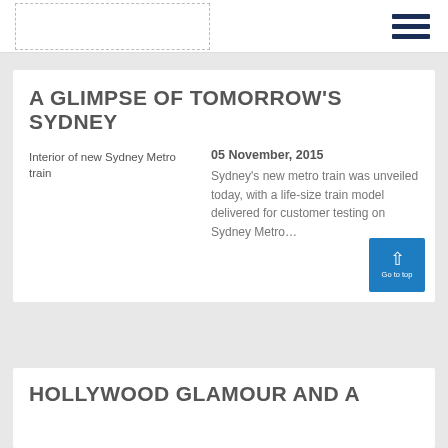A GLIMPSE OF TOMORROW'S SYDNEY
[Figure (photo): Interior of new Sydney Metro train (broken image placeholder)]
05 November, 2015
Sydney's new metro train was unveiled today, with a life-size train model delivered for customer testing on Sydney Metro…
HOLLYWOOD GLAMOUR AND A